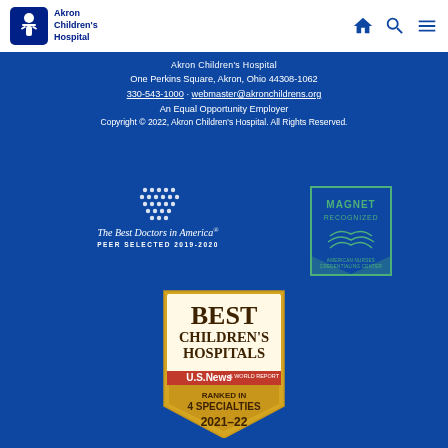Akron Children's Hospital — header navigation bar with logo and icons
Akron Children's Hospital
One Perkins Square, Akron, Ohio 44308-1062
330-543-1000 · webmaster@akronchildrens.org
An Equal Opportunity Employer
Copyright © 2022, Akron Children's Hospital. All Rights Reserved.
[Figure (logo): The Best Doctors in America® PEER SELECTED 2019-2020 badge with dot-grid icon]
[Figure (logo): Magnet Recognized — American Nurses Credentialing Center badge in green]
[Figure (logo): U.S. News & World Report Best Children's Hospitals — Ranked in 4 Specialties 2021-22 gold shield badge]